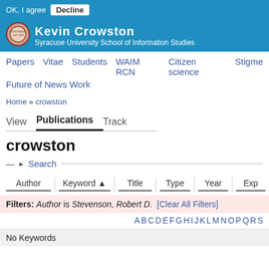OK, I agree  Decline
Kevin Crowston
Syracuse University School of Information Studies
Papers  Vitae  Students  WAIM RCN  Citizen science  Stigme
Future of News Work
Home » crowston
View  Publications  Track
crowston
— ▶ Search ——
| Author | Keyword ▲ | Title | Type | Year | Exp |
| --- | --- | --- | --- | --- | --- |
Filters: Author is Stevenson, Robert D.  [Clear All Filters]
A B C D E F G H I J K L M N O P Q R S
No Keywords